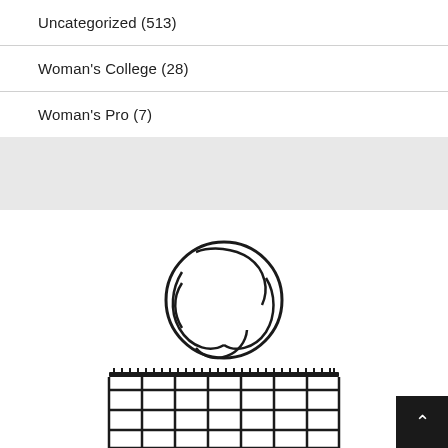Uncategorized (513)
Woman's College (28)
Woman's Pro (7)
[Figure (illustration): A volleyball icon showing a ball above a volleyball net, rendered as a black and white line illustration]